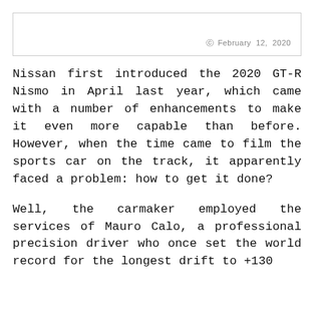February 12, 2020
Nissan first introduced the 2020 GT-R Nismo in April last year, which came with a number of enhancements to make it even more capable than before. However, when the time came to film the sports car on the track, it apparently faced a problem: how to get it done?
Well, the carmaker employed the services of Mauro Calo, a professional precision driver who once set the world record for the longest drift to +1200...